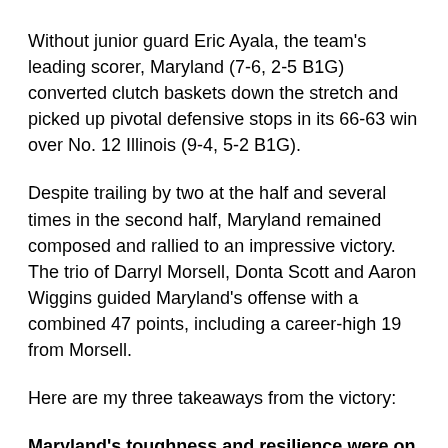Without junior guard Eric Ayala, the team's leading scorer, Maryland (7-6, 2-5 B1G) converted clutch baskets down the stretch and picked up pivotal defensive stops in its 66-63 win over No. 12 Illinois (9-4, 5-2 B1G).
Despite trailing by two at the half and several times in the second half, Maryland remained composed and rallied to an impressive victory. The trio of Darryl Morsell, Donta Scott and Aaron Wiggins guided Maryland's offense with a combined 47 points, including a career-high 19 from Morsell.
Here are my three takeaways from the victory:
Maryland's toughness and resilience were on full display:
With 1:21 remaining, Galin Smith reached out his